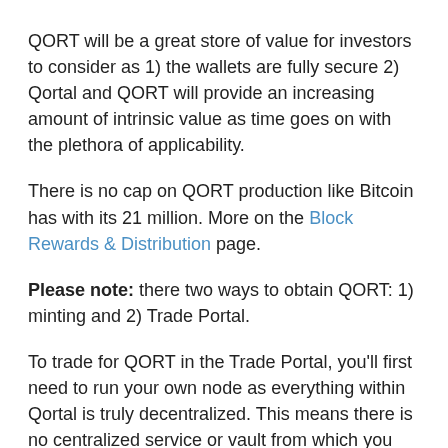QORT will be a great store of value for investors to consider as 1) the wallets are fully secure 2) Qortal and QORT will provide an increasing amount of intrinsic value as time goes on with the plethora of applicability.
There is no cap on QORT production like Bitcoin has with its 21 million. More on the Block Rewards & Distribution page.
Please note: there two ways to obtain QORT: 1) minting and 2) Trade Portal.
To trade for QORT in the Trade Portal, you'll first need to run your own node as everything within Qortal is truly decentralized. This means there is no centralized service or vault from which you can purchase QORT. You'll need your own node, fully synced, to utilize the Trade Portal. You'll need to purchase LTC or the other coins we will support in the future, into your Qortal wallet. For example,